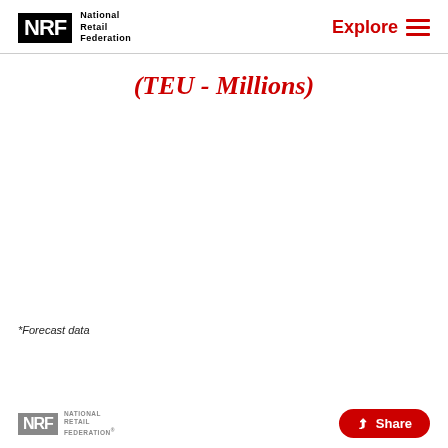NRF National Retail Federation | Explore
(TEU - Millions)
*Forecast data
NRF National Retail Federation | Share